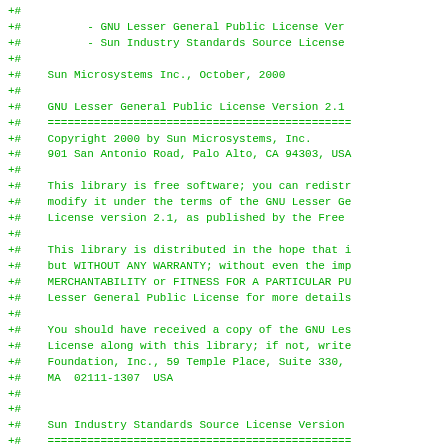+#
+#          - GNU Lesser General Public License Ver
+#          - Sun Industry Standards Source License
+#
+#    Sun Microsystems Inc., October, 2000
+#
+#    GNU Lesser General Public License Version 2.1
+#    ==============================================
+#    Copyright 2000 by Sun Microsystems, Inc.
+#    901 San Antonio Road, Palo Alto, CA 94303, USA
+#
+#    This library is free software; you can redistr
+#    modify it under the terms of the GNU Lesser Ge
+#    License version 2.1, as published by the Free
+#
+#    This library is distributed in the hope that i
+#    but WITHOUT ANY WARRANTY; without even the imp
+#    MERCHANTABILITY or FITNESS FOR A PARTICULAR PU
+#    Lesser General Public License for more details
+#
+#    You should have received a copy of the GNU Les
+#    License along with this library; if not, write
+#    Foundation, Inc., 59 Temple Place, Suite 330,
+#    MA  02111-1307  USA
+#
+#
+#    Sun Industry Standards Source License Version
+#    ==============================================
+#    The contents of this file are subject to the S
+#    Source License Version 1.1 (the "License"); Yo
+#    except in compliance with the License. You may